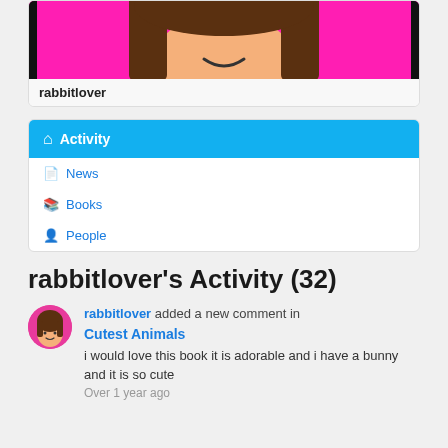[Figure (illustration): Cartoon avatar of a girl with brown hair on a pink background, partially cropped showing lower face/neck region]
rabbitlover
Activity
News
Books
People
rabbitlover's Activity (32)
rabbitlover added a new comment in Cutest Animals
i would love this book it is adorable and i have a bunny and it is so cute
Over 1 year ago